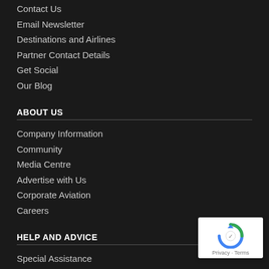Contact Us
Email Newsletter
Destinations and Airlines
Partner Contact Details
Get Social
Our Blog
ABOUT US
Company Information
Community
Media Centre
Advertise with Us
Corporate Aviation
Careers
HELP AND ADVICE
Special Assistance
Airport Maps
Car Park Maps